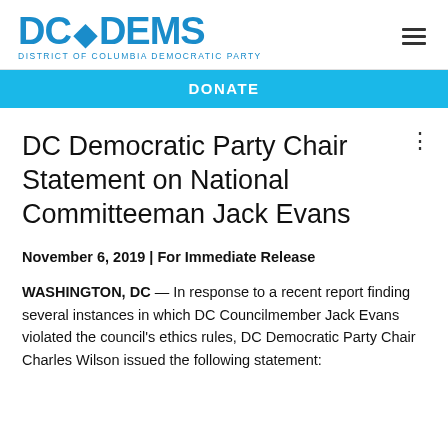DC DEMS — DISTRICT OF COLUMBIA DEMOCRATIC PARTY
DONATE
DC Democratic Party Chair Statement on National Committeeman Jack Evans
November 6, 2019 | For Immediate Release
WASHINGTON, DC — In response to a recent report finding several instances in which DC Councilmember Jack Evans violated the council's ethics rules, DC Democratic Party Chair Charles Wilson issued the following statement: